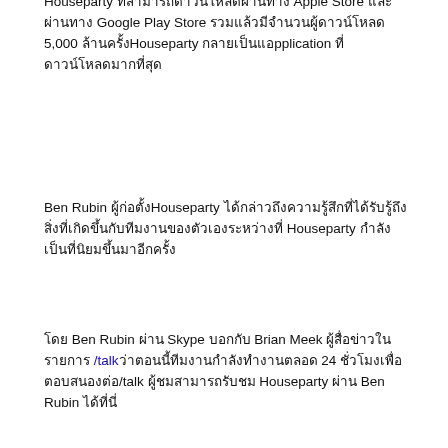Houseparty ที่สามารถดาวน์โหลดผ่านทาง Apple Store และผ่านทาง Google Play Store รวมแล้วมีจำนวนผู้ดาวน์โหลด 5,000 ล้านครั้งHouseparty กลายเป็นแอpplication ที่ดาวน์โหลดมากที่สุด
Ben Rubin ผู้ก่อตั้งHouseparty ได้กล่าวถึงความรู้สึกที่ได้รับรู้ถึงสิ่งที่เกิดขึ้นกับทีมงานของตัวเองระหว่างที่ Houseparty กำลังเป็นที่นิยมขึ้นมาอีกครั้ง
โดย Ben Rubin ผ่าน Skype บอกกับ Brian Meek ผู้สื่อข่าวในรายการ /talkว่าตอนนี้ทีมงานกำลังทำงานตลอด 24 ชั่วโมงเพื่อตอบสนองต่อ/talk ผู้ชมสามารถรับชม Houseparty ผ่าน Ben Rubin ได้ที่นี่